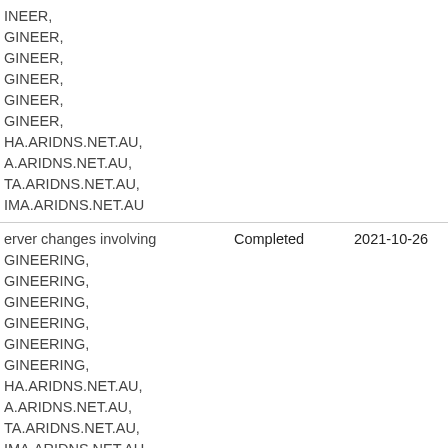| Description | Status | Date |
| --- | --- | --- |
| …INEER,
…GINEER,
…GINEER,
…GINEER,
…GINEER,
…GINEER,
…HA.ARIDNS.NET.AU,
…A.ARIDNS.NET.AU,
…TA.ARIDNS.NET.AU,
…IMA.ARIDNS.NET.AU |  |  |
| …erver changes involving …GINEERING,
…GINEERING,
…GINEERING,
…GINEERING,
…GINEERING,
…GINEERING,
…HA.ARIDNS.NET.AU,
…A.ARIDNS.NET.AU,
…TA.ARIDNS.NET.AU,
…IMA.ARIDNS.NET.AU | Completed | 2021-10-26 |
| …erver changes involving …OSED,
…OSED, | Completed | 2021-10-26 |